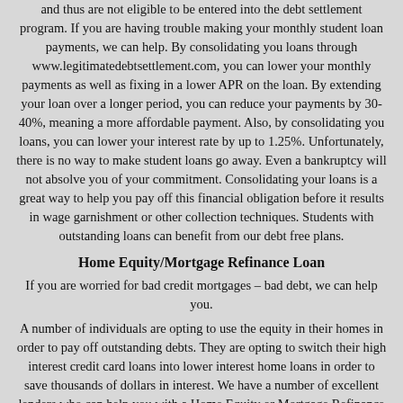and thus are not eligible to be entered into the debt settlement program. If you are having trouble making your monthly student loan payments, we can help. By consolidating you loans through www.legitimatedebtsettlement.com, you can lower your monthly payments as well as fixing in a lower APR on the loan. By extending your loan over a longer period, you can reduce your payments by 30-40%, meaning a more affordable payment. Also, by consolidating you loans, you can lower your interest rate by up to 1.25%. Unfortunately, there is no way to make student loans go away. Even a bankruptcy will not absolve you of your commitment. Consolidating your loans is a great way to help you pay off this financial obligation before it results in wage garnishment or other collection techniques. Students with outstanding loans can benefit from our debt free plans.
Home Equity/Mortgage Refinance Loan
If you are worried for bad credit mortgages – bad debt, we can help you.
A number of individuals are opting to use the equity in their homes in order to pay off outstanding debts. They are opting to switch their high interest credit card loans into lower interest home loans in order to save thousands of dollars in interest. We have a number of excellent lenders who can help you with a Home Equity or Mortgage Refinance loan. Home equity loans involve borrowing